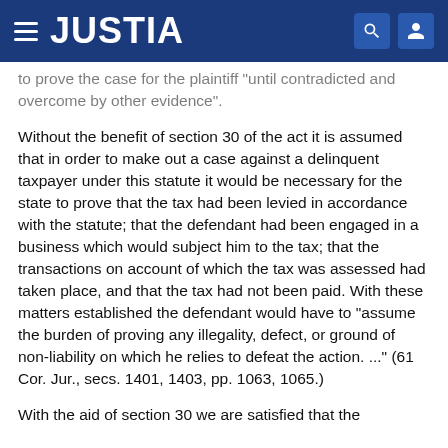JUSTIA
to prove the case for the plaintiff "until contradicted and overcome by other evidence".
Without the benefit of section 30 of the act it is assumed that in order to make out a case against a delinquent taxpayer under this statute it would be necessary for the state to prove that the tax had been levied in accordance with the statute; that the defendant had been engaged in a business which would subject him to the tax; that the transactions on account of which the tax was assessed had taken place, and that the tax had not been paid. With these matters established the defendant would have to "assume the burden of proving any illegality, defect, or ground of non-liability on which he relies to defeat the action. ..." (61 Cor. Jur., secs. 1401, 1403, pp. 1063, 1065.)
With the aid of section 30 we are satisfied that the